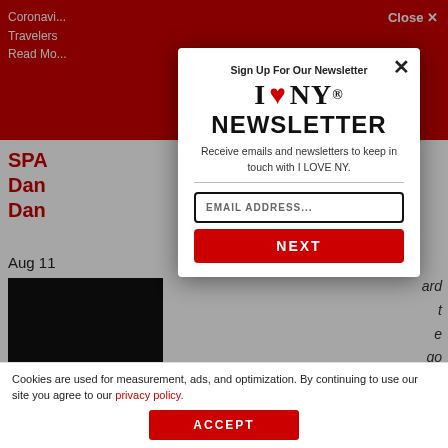Coronavirus
Travelers
Read Mo...
Close ✕
SPA...
Dan...
Dan...
Aug 1...
ard
t
e
go
[Figure (screenshot): I LOVE NY newsletter sign-up modal overlay on a website]
Sign Up For Our Newsletter
I ❤ NY
NEWSLETTER
Receive emails and newsletters to keep in touch with I LOVE NY.
EMAIL ADDRESS...
NEXT
Cookies are used for measurement, ads, and optimization. By continuing to use our site you agree to our privacy policy.
ACCEPT